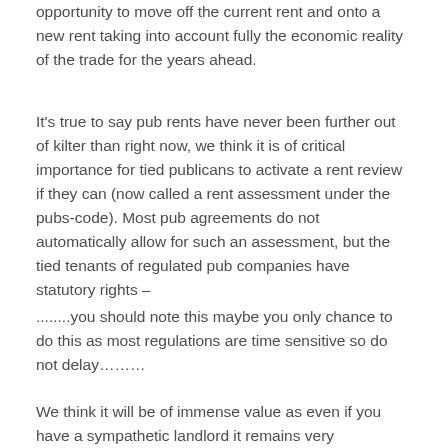opportunity to move off the current rent and onto a new rent taking into account fully the economic reality of the trade for the years ahead.
It's true to say pub rents have never been further out of kilter than right now, we think it is of critical importance for tied publicans to activate a rent review if they can (now called a rent assessment under the pubs-code). Most pub agreements do not automatically allow for such an assessment, but the tied tenants of regulated pub companies have statutory rights –
........you should note this maybe you only chance to do this as most regulations are time sensitive so do not delay.........
We think it will be of immense value as even if you have a sympathetic landlord it remains very